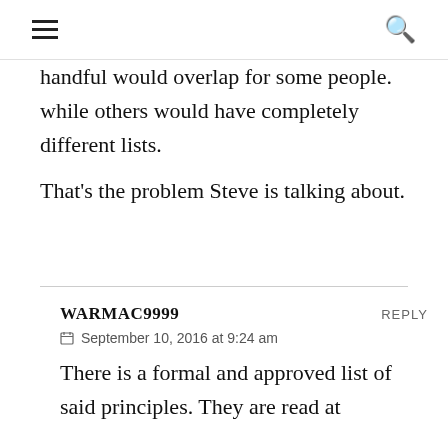≡  🔍
handful would overlap for some people. while others would have completely different lists. That's the problem Steve is talking about.
WARMAC9999  REPLY
September 10, 2016 at 9:24 am
There is a formal and approved list of said principles. They are read at